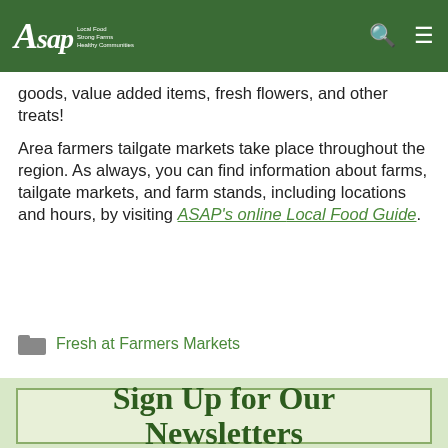ASAP — Local Food, Strong Farms, Healthy Communities
goods, value added items, fresh flowers, and other treats!
Area farmers tailgate markets take place throughout the region. As always, you can find information about farms, tailgate markets, and farm stands, including locations and hours, by visiting ASAP's online Local Food Guide.
Fresh at Farmers Markets
Sign Up for Our Newsletters